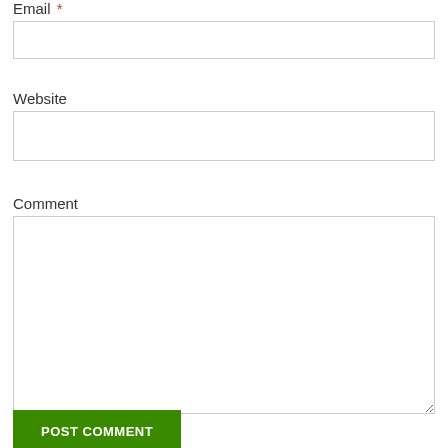Email *
[Figure (other): Empty email input text field]
Website
[Figure (other): Empty website input text field]
Comment
[Figure (other): Empty comment textarea input field]
POST COMMENT